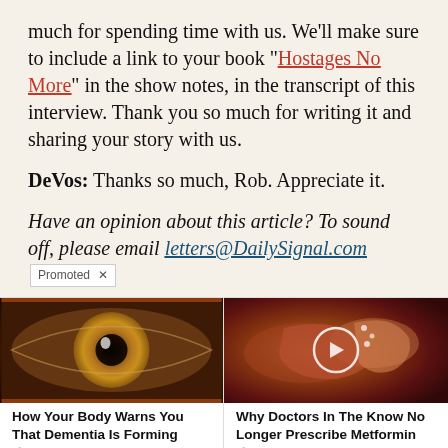much for spending time with us. We'll make sure to include a link to your book “Hostages No More” in the show notes, in the transcript of this interview. Thank you so much for writing it and sharing your story with us.
DeVos: Thanks so much, Rob. Appreciate it.
Have an opinion about this article? To sound off, please email letters@DailySignal.co[m]
[Figure (photo): Close-up photo of a human eye with brown iris]
How Your Body Warns You That Dementia Is Forming
34,193
[Figure (photo): Medical illustration of internal organs with a play button overlay]
Why Doctors In The Know No Longer Prescribe Metformin
87,111